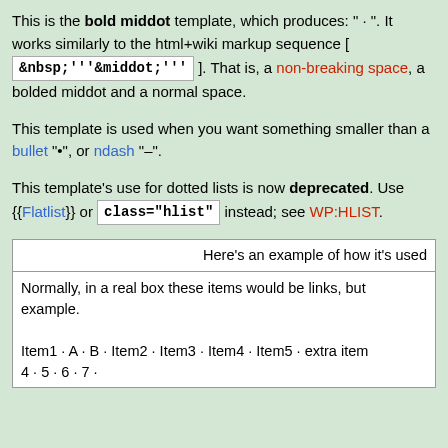This is the bold middot template, which produces: " · ". It works similarly to the html+wiki markup sequence [ &nbsp;'''&middot;''' ]. That is, a non-breaking space, a bolded middot and a normal space.
This template is used when you want something smaller than a bullet "•", or ndash "–".
This template's use for dotted lists is now deprecated. Use {{Flatlist}} or class="hlist" instead; see WP:HLIST.
| Here's an example of how it's used |
| --- |
| Normally, in a real box these items would be links, but example.

Item1 · A · B · Item2 · Item3 · Item4 · Item5 · extra item 4 · 5 · 6 · 7 · |